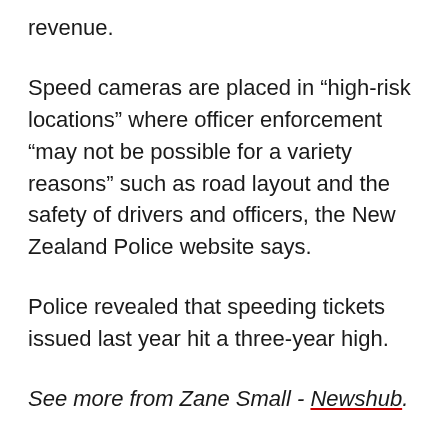revenue.
Speed cameras are placed in "high-risk locations" where officer enforcement "may not be possible for a variety reasons" such as road layout and the safety of drivers and officers, the New Zealand Police website says.
Police revealed that speeding tickets issued last year hit a three-year high.
See more from Zane Small - Newshub.